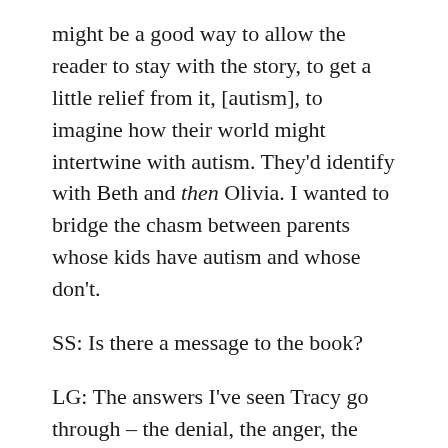might be a good way to allow the reader to stay with the story, to get a little relief from it, [autism], to imagine how their world might intertwine with autism. They'd identify with Beth and then Olivia. I wanted to bridge the chasm between parents whose kids have autism and whose don't.
SS: Is there a message to the book?
LG: The answers I've seen Tracy go through – the denial, the anger, the despair – most